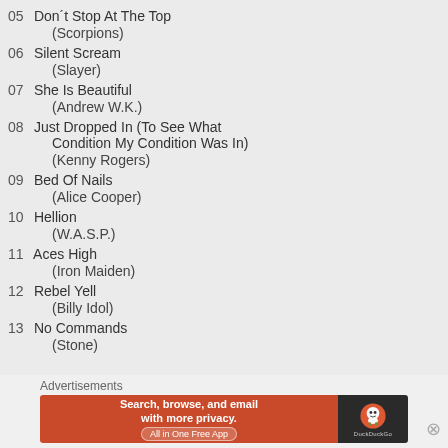05 Don't Stop At The Top (Scorpions)
06 Silent Scream (Slayer)
07 She Is Beautiful (Andrew W.K.)
08 Just Dropped In  (To See What Condition My Condition Was In) (Kenny Rogers)
09 Bed Of Nails (Alice Cooper)
10 Hellion (W.A.S.P.)
11 Aces High (Iron Maiden)
12 Rebel Yell (Billy Idol)
13 No Commands (Stone)
[Figure (screenshot): DuckDuckGo advertisement banner with text 'Search, browse, and email with more privacy. All in One Free App' on orange background with DuckDuckGo logo on dark background]